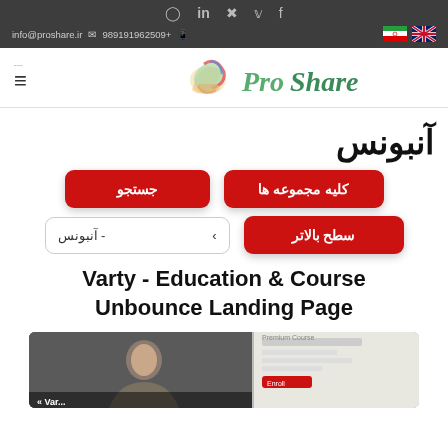info@proshare.ir  989191962509+
[Figure (logo): Pro Share logo with colorful brush/paint graphic and handwritten style text 'Pro Share']
آنبونس
کلیه مجموعه ها  جستجو
سطح بالاتر  - آنبونس
Varty - Education & Course Unbounce Landing Page
[Figure (screenshot): Screenshot preview of Varty Education & Course Unbounce Landing Page showing a person and course UI]